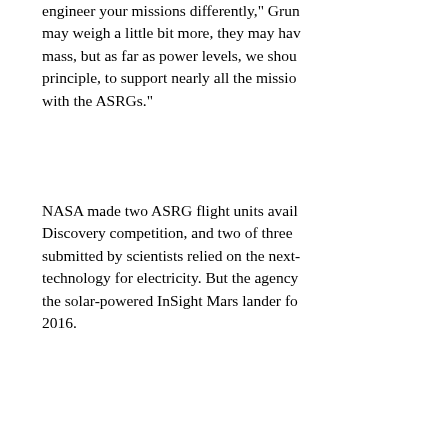engineer your missions differently,' Gru may weigh a little bit more, they may hav mass, but as far as power levels, we shou principle, to support nearly all the missio with the ASRGs."
NASA made two ASRG flight units avail Discovery competition, and two of three submitted by scientists relied on the next- technology for electricity. But the agency the solar-powered InSight Mars lander fo 2016.
Officials wanted to complete a flight dem on a relatively inexpensive Discovery-cla committing the new technology to a more probe.
At the time of the InSight selection, NAS the ASRGs available again in the next Di which would choose another planetary m earlier than 2020.
Follow Stephen Clark on Twitter: @Step